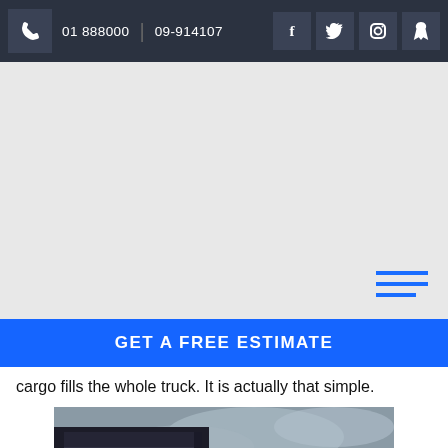01 888000 | 09-914107
[Figure (photo): Gray hero/banner area with hamburger menu icon in blue lines at bottom right]
GET A FREE ESTIMATE
cargo fills the whole truck. It is actually that simple.
[Figure (photo): Photograph of a large truck/semi-trailer parked near a warehouse building, with cloudy sky and dark hills in background]